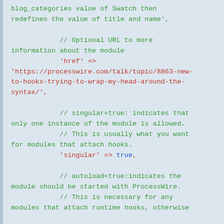blog_categories value of Swatch then redeefines the value of title and name',

            // Optional URL to more information about the module
            'href' => 'https://processwire.com/talk/topic/8863-new-to-hooks-trying-to-wrap-my-head-around-the-syntax/',

            // singular=true: indicates that only one instance of the module is allowed.
            // This is usually what you want for modules that attach hooks.
            'singular' => true,

            // autoload=true:indicates the module should be started with ProcessWire.
            // This is necessary for any modules that attach runtime hooks, otherwise